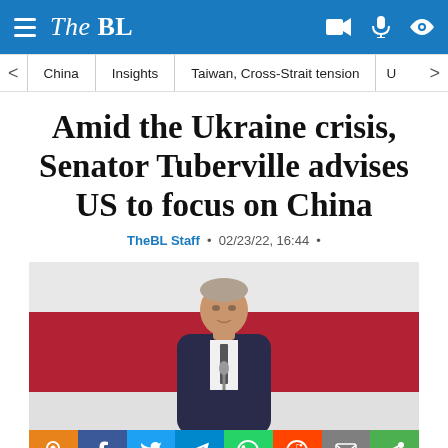The BL
China | Insights | Taiwan, Cross-Strait tension | U
Amid the Ukraine crisis, Senator Tuberville advises US to focus on China
TheBL Staff · 02/23/22, 16:44 ·
[Figure (photo): Senator Tommy Tuberville speaking at a podium in front of a red and white flag background, wearing a dark suit and striped tie.]